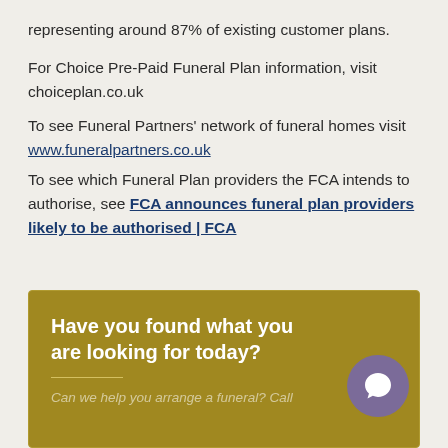representing around 87% of existing customer plans.
For Choice Pre-Paid Funeral Plan information, visit choiceplan.co.uk
To see Funeral Partners' network of funeral homes visit www.funeralpartners.co.uk
To see which Funeral Plan providers the FCA intends to authorise, see FCA announces funeral plan providers likely to be authorised | FCA
Have you found what you are looking for today?
Can we help you arrange a funeral? Call